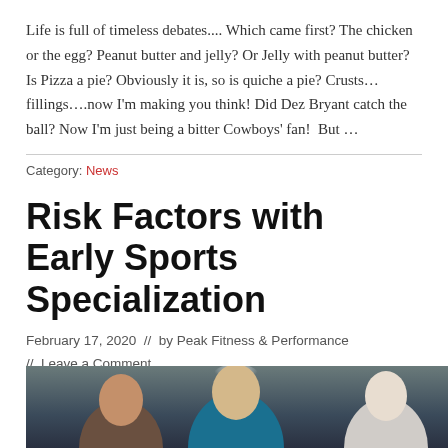Life is full of timeless debates.... Which came first? The chicken or the egg? Peanut butter and jelly? Or Jelly with peanut butter? Is Pizza a pie? Obviously it is, so is quiche a pie? Crusts…fillings….now I'm making you think! Did Dez Bryant catch the ball? Now I'm just being a bitter Cowboys' fan!  But …
Category: News
Risk Factors with Early Sports Specialization
February 17, 2020  //  by Peak Fitness & Performance  //  Leave a Comment
[Figure (photo): Photo showing athletes or sports players, partially visible at the bottom of the page]